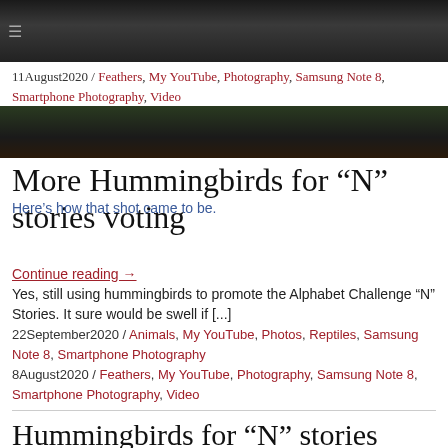[Figure (photo): Close-up photo of a dark camera lens, partially visible at top of page]
11August2020 / Feathers, My YouTube, Photography, Samsung Note 8, Smartphone Photography, Video
[Figure (photo): Close-up photo of a dark camera lens with green foliage background, partially visible]
More Hummingbirds for “N” stories voting
Here’s how that shot came to be.
Continue reading →
Yes, still using hummingbirds to promote the Alphabet Challenge “N” Stories. It sure would be swell if [...]
22September2020 / Animals, My YouTube, Photos, Reptiles, Samsung Note 8, Smartphone Photography
8August2020 / Feathers, My YouTube, Photography, Samsung Note 8, Smartphone Photography, Video
Hummingbirds for “N” stories voting
Hummingbirds are all aflutter about reading the Alphabet Challenge “N” Stories. Some might argue hummingbirds